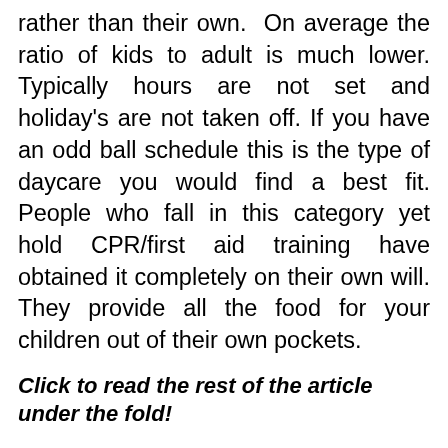rather than their own. On average the ratio of kids to adult is much lower. Typically hours are not set and holiday's are not taken off. If you have an odd ball schedule this is the type of daycare you would find a best fit. People who fall in this category yet hold CPR/first aid training have obtained it completely on their own will. They provide all the food for your children out of their own pockets.
Click to read the rest of the article under the fold!
[Figure (other): Advertisement banner with a photo of an outdoor wall lamp/camera and text: Homeowners Are Trading In Their Doorbell Cams For This. Source: Camerca | Sponsored]